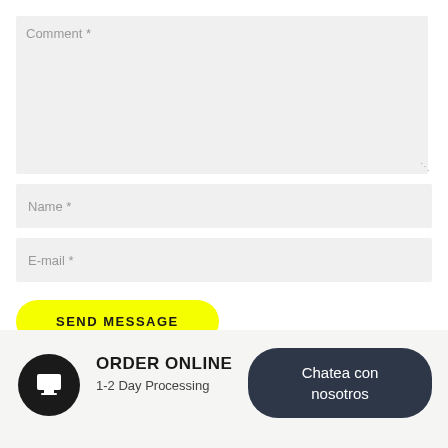Comment *
Name *
E-mail *
SEND MESSAGE
Chatea con nosotros
ORDER ONLINE
1-2 Day Processing